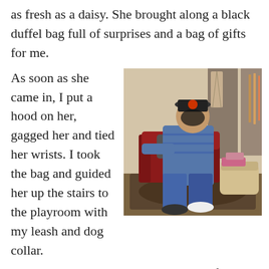as fresh as a daisy. She brought along a black duffel bag full of surprises and a bag of gifts for me.
As soon as she came in, I put a hood on her, gagged her and tied her wrists. I took the bag and guided her up the stairs to the playroom with my leash and dog collar. I sat her down and unpacked the bag of surprises. Daisy had a nice set of white lingerie; bra, panties, stocking garter belt. a selection of clothes, and really slutty shoes.
[Figure (photo): A man wearing a baseball cap and jeans sitting on a dark red couch/chair in a living room with a decorative rug, pillows, and items on walls in the background.]
I set up the video camera on a tripod and soon Daisy was ready for her closeup.